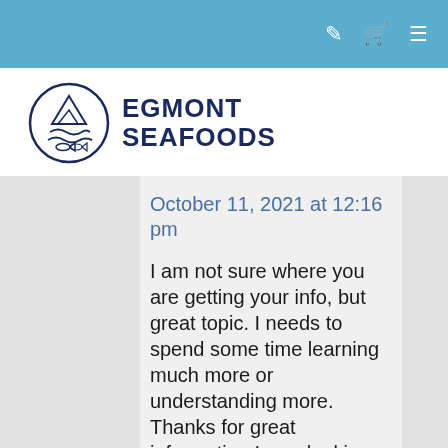[Figure (logo): Egmont Seafoods logo with circular fish emblem and bold navy text]
October 11, 2021 at 12:16 pm
I am not sure where you are getting your info, but great topic. I needs to spend some time learning much more or understanding more. Thanks for great information I was looking for this information for my